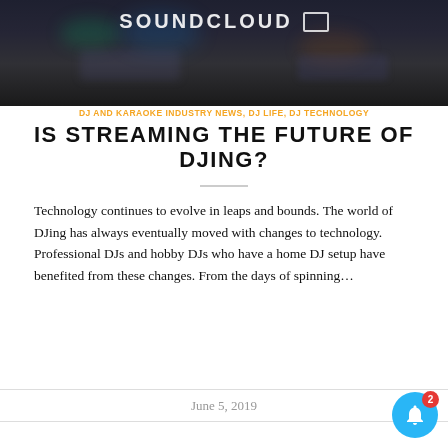[Figure (photo): Dark background screenshot showing the SoundCloud logo/banner text in white capital letters against a blurred dark DJ equipment background]
DJ AND KARAOKE INDUSTRY NEWS, DJ LIFE, DJ TECHNOLOGY
IS STREAMING THE FUTURE OF DJING?
Technology continues to evolve in leaps and bounds. The world of DJing has always eventually moved with changes to technology. Professional DJs and hobby DJs who have a home DJ setup have benefited from these changes. From the days of spinning…
June 5, 2019